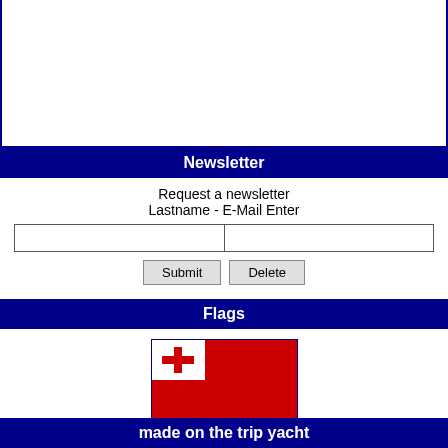Newsletter
Request a newsletter
Lastname - E-Mail Enter
Flags
[Figure (illustration): Flag of Tonga: white canton with red cross on left, red field on right]
Tonga
Flags alphabet
9    Nove nine    — — — —
made on the trip yacht